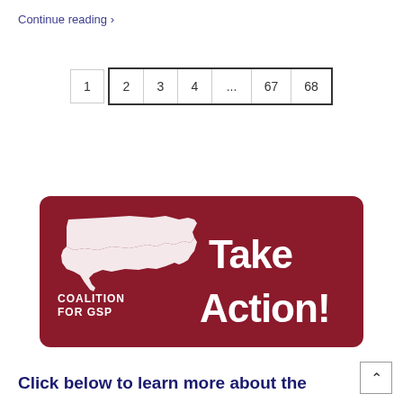Continue reading >
[Figure (other): Pagination control showing page numbers: 1, then a grouped selection of 2, 3, 4, ..., 67, 68]
[Figure (other): Coalition for GSP 'Take Action!' banner with dark red background, white US map silhouette and bold white text]
Click below to learn more about the coalition >